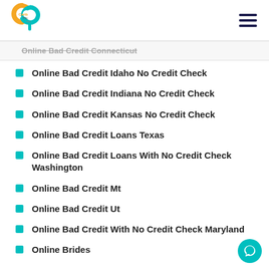Carib Pay App
Online Bad Credit Connecticut
Online Bad Credit Idaho No Credit Check
Online Bad Credit Indiana No Credit Check
Online Bad Credit Kansas No Credit Check
Online Bad Credit Loans Texas
Online Bad Credit Loans With No Credit Check Washington
Online Bad Credit Mt
Online Bad Credit Ut
Online Bad Credit With No Credit Check Maryland
Online Brides